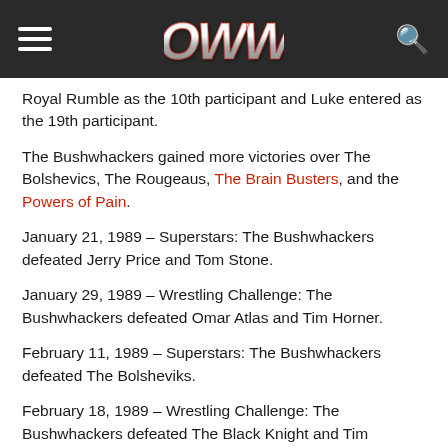OWW (Online World of Wrestling) website header with hamburger menu and search icon
Royal Rumble as the 10th participant and Luke entered as the 19th participant.
The Bushwhackers gained more victories over The Bolshevics, The Rougeaus, The Brain Busters, and the Powers of Pain.
January 21, 1989 – Superstars: The Bushwhackers defeated Jerry Price and Tom Stone.
January 29, 1989 – Wrestling Challenge: The Bushwhackers defeated Omar Atlas and Tim Horner.
February 11, 1989 – Superstars: The Bushwhackers defeated The Bolsheviks.
February 18, 1989 – Wrestling Challenge: The Bushwhackers defeated The Black Knight and Tim Patterson.
March 11, 1989 – Superstars: The Bushwhackers